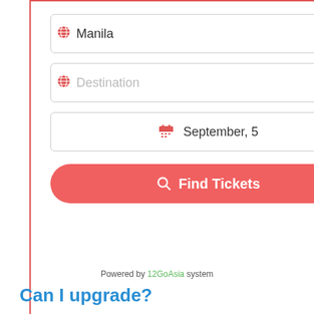[Figure (screenshot): Travel booking widget with red border showing Manila origin field, Destination placeholder field, September 5 date field, and Find Tickets button]
Powered by 12GoAsia system
Can I upgrade?
Yes, you can. Once you're on the ferry, you can ask the staff at
[Figure (screenshot): Mattress Firm advertisement showing In-store shopping, In-store pickup, and Delivery checkmarks with a blue arrow navigation icon]